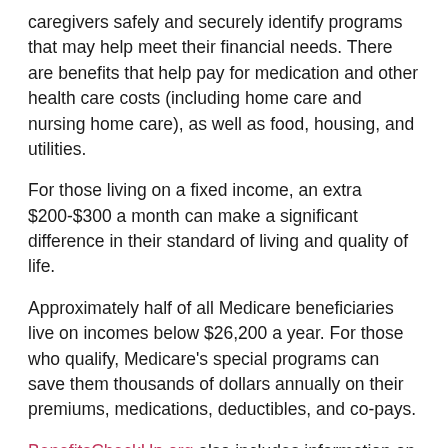caregivers safely and securely identify programs that may help meet their financial needs. There are benefits that help pay for medication and other health care costs (including home care and nursing home care), as well as food, housing, and utilities.
For those living on a fixed income, an extra $200-$300 a month can make a significant difference in their standard of living and quality of life.
Approximately half of all Medicare beneficiaries live on incomes below $26,200 a year. For those who qualify, Medicare's special programs can save them thousands of dollars annually on their premiums, medications, deductibles, and co-pays.
BenefitsCheckUp.org also includes information on employment and volunteer programs, programs for veterans, property tax relief, travel and recreation discounts, and support for families and caregivers.
To raise awareness about these valuable benefits, NCOA is introducing an educational campaign called Boost Your Budget Week: Find Your Benefits to Age Well. Planned for July, the week is a great time for older adults to learn about opportunities to boost